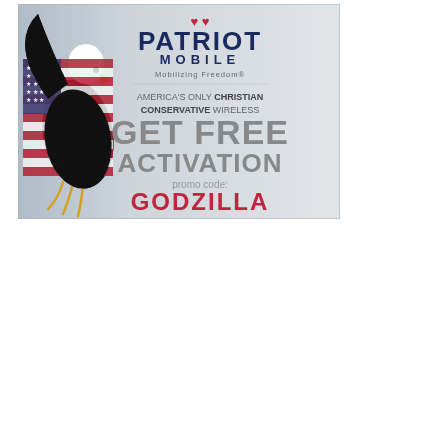[Figure (illustration): Patriot Mobile advertisement featuring a bald eagle with an American flag on the left side, and text on a light gray background on the right. The ad reads: PATRIOT MOBILE, Mobilizing Freedom®, AMERICA'S ONLY CHRISTIAN CONSERVATIVE WIRELESS, GET FREE ACTIVATION, promo code: GODZILLA]